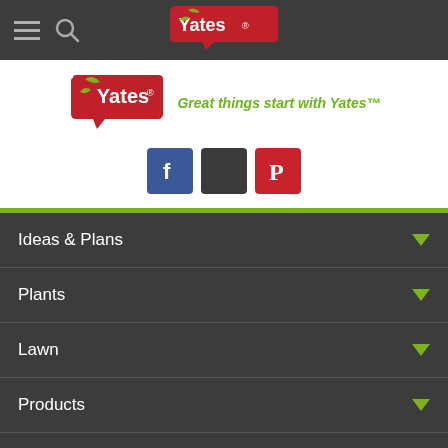Yates navigation bar with hamburger menu, search icon, and Yates logo
[Figure (logo): Yates logo with tagline: Great things start with Yates™, plus Facebook, Twitter, and Pinterest social icons]
Ideas & Plans
Plants
Lawn
Products
Brands
Garden Club